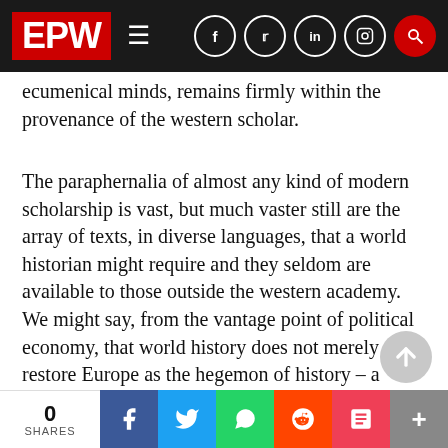EPW
ecumenical minds, remains firmly within the provenance of the western scholar.
The paraphernalia of almost any kind of modern scholarship is vast, but much vaster still are the array of texts, in diverse languages, that a world historian might require and they seldom are available to those outside the western academy. We might say, from the vantage point of political economy, that world history does not merely restore Europe as the hegemon of history – a restoration occurring in the midst of much anxiety about the loss of faith in grand narratives, the nefarious influence of those French diseases of the